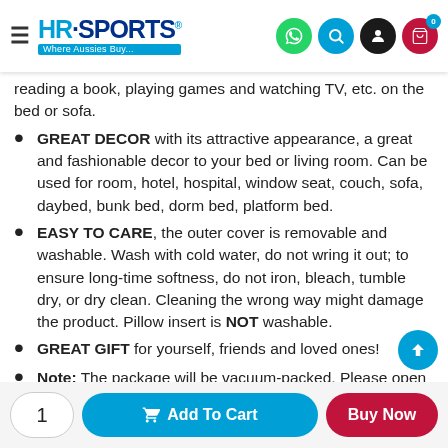HR Sports – Where Aussies Buy…
reading a book, playing games and watching TV, etc. on the bed or sofa.
GREAT DECOR with its attractive appearance, a great and fashionable decor to your bed or living room. Can be used for room, hotel, hospital, window seat, couch, sofa, daybed, bunk bed, dorm bed, platform bed.
EASY TO CARE, the outer cover is removable and washable. Wash with cold water, do not wring it out; to ensure long-time softness, do not iron, bleach, tumble dry, or dry clean. Cleaning the wrong way might damage the product. Pillow insert is NOT washable.
GREAT GIFT for yourself, friends and loved ones!
Note: The package will be vacuum-packed. Please open the bag, pat the pillow to stretch and leave for a few days, it will return to its bulkiness. Please